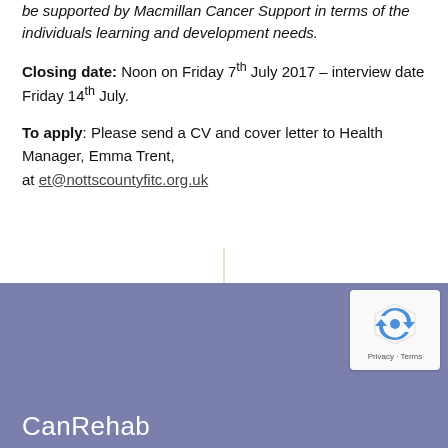be supported by Macmillan Cancer Support in terms of the individuals learning and development needs.
Closing date: Noon on Friday 7th July 2017 – interview date Friday 14th July.
To apply: Please send a CV and cover letter to Health Manager, Emma Trent, at et@nottscountyfitc.org.uk
[Figure (other): Vertical green line divider and purple/blue footer area with CanRehab text and reCAPTCHA badge]